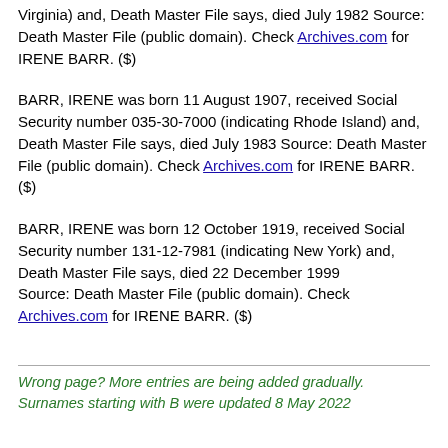Virginia) and, Death Master File says, died July 1982 Source: Death Master File (public domain). Check Archives.com for IRENE BARR. ($)
BARR, IRENE was born 11 August 1907, received Social Security number 035-30-7000 (indicating Rhode Island) and, Death Master File says, died July 1983 Source: Death Master File (public domain). Check Archives.com for IRENE BARR. ($)
BARR, IRENE was born 12 October 1919, received Social Security number 131-12-7981 (indicating New York) and, Death Master File says, died 22 December 1999 Source: Death Master File (public domain). Check Archives.com for IRENE BARR. ($)
Wrong page? More entries are being added gradually. Surnames starting with B were updated 8 May 2022